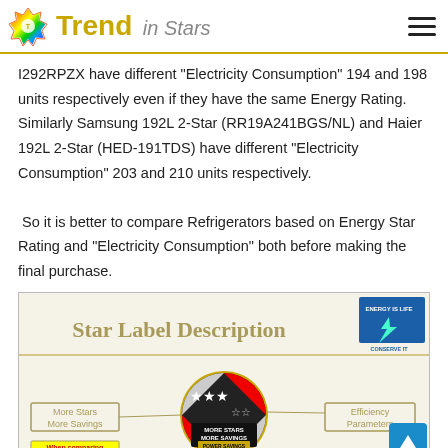Trend in Stars
I292RPZX have different "Electricity Consumption" 194 and 198 units respectively even if they have the same Energy Rating. Similarly Samsung 192L 2-Star (RR19A241BGS/NL) and Haier 192L 2-Star (HED-191TDS) have different "Electricity Consumption" 203 and 210 units respectively. So it is better to compare Refrigerators based on Energy Star Rating and "Electricity Consumption" both before making the final purchase.
[Figure (infographic): Star Label Description infographic showing a power savings guide with a circular badge containing stars (More Stars More Savings), energy efficiency parameters, and a BEE (Bureau of Energy Efficiency) logo. The infographic explains how to read the energy star label on appliances.]